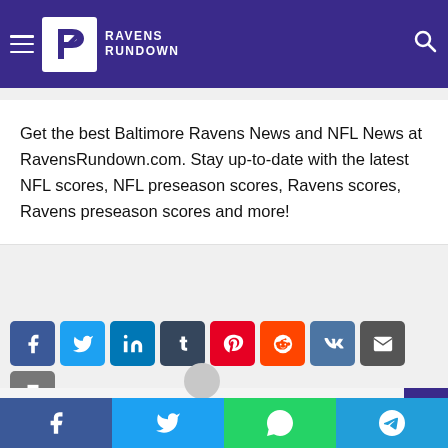Ravens Rundown - Baltimore Ravens News and NFL News
Get the best Baltimore Ravens News and NFL News at RavensRundown.com. Stay up-to-date with the latest NFL scores, NFL preseason scores, Ravens scores, Ravens preseason scores and more!
[Figure (other): Social share buttons: Facebook, Twitter, LinkedIn, Tumblr, Pinterest, Reddit, VK, Email, Print]
[Figure (other): User profile avatar placeholder (grey circle/person icon)]
[Figure (other): Bottom share bar with Facebook, Twitter, WhatsApp, Telegram buttons]